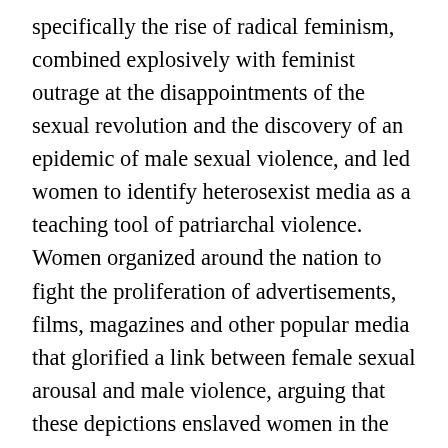specifically the rise of radical feminism, combined explosively with feminist outrage at the disappointments of the sexual revolution and the discovery of an epidemic of male sexual violence, and led women to identify heterosexist media as a teaching tool of patriarchal violence. Women organized around the nation to fight the proliferation of advertisements, films, magazines and other popular media that glorified a link between female sexual arousal and male violence, arguing that these depictions enslaved women in the role of passive victim and taught men that it was normal and desirable to behave like brutes. Grassroots organizations of women developed a feminist analysis of sexually violent images and argued that they promoted the continuation of sexist attitudes and behavior and male power and control. These groups